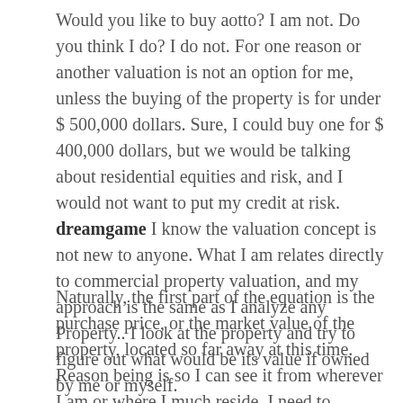Would you like to buy aotto? I am not. Do you think I do? I do not. For one reason or another valuation is not an option for me, unless the buying of the property is for under $ 500,000 dollars. Sure, I could buy one for $ 400,000 dollars, but we would be talking about residential equities and risk, and I would not want to put my credit at risk. dreamgame I know the valuation concept is not new to anyone. What I am relates directly to commercial property valuation, and my approach is the same as I analyze any Property.. I look at the property and try to figure out what would be its value if owned by me or myself.
Naturally, the first part of the equation is the purchase price, or the market value of the property, located so far away at this time. Reason being is so I can see it from wherever I am or where I much reside. I need to quickly factor in other factors. For example, value of location, market improvements, capital improvements